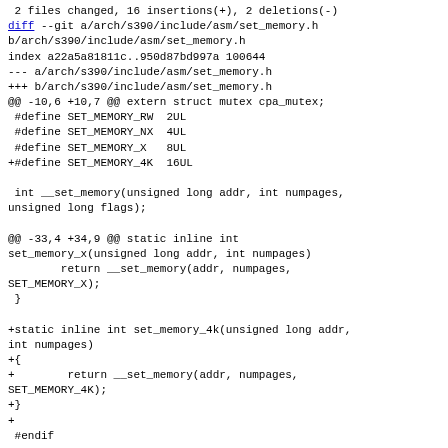2 files changed, 16 insertions(+), 2 deletions(-)
diff --git a/arch/s390/include/asm/set_memory.h b/arch/s390/include/asm/set_memory.h
index a22a5a81811c..950d87bd997a 100644
--- a/arch/s390/include/asm/set_memory.h
+++ b/arch/s390/include/asm/set_memory.h
@@ -10,6 +10,7 @@ extern struct mutex cpa_mutex;
 #define SET_MEMORY_RW  2UL
 #define SET_MEMORY_NX  4UL
 #define SET_MEMORY_X   8UL
+#define SET_MEMORY_4K  16UL

 int __set_memory(unsigned long addr, int numpages, unsigned long flags);

@@ -33,4 +34,9 @@ static inline int set_memory_x(unsigned long addr, int numpages)
        return __set_memory(addr, numpages, SET_MEMORY_X);
 }

+static inline int set_memory_4k(unsigned long addr, int numpages)
+{
+       return __set_memory(addr, numpages, SET_MEMORY_4K);
+}
+
 #endif
-- ...